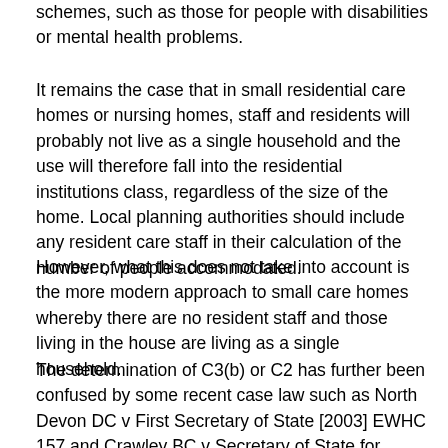schemes, such as those for people with disabilities or mental health problems.
It remains the case that in small residential care homes or nursing homes, staff and residents will probably not live as a single household and the use will therefore fall into the residential institutions class, regardless of the size of the home. Local planning authorities should include any resident care staff in their calculation of the number of people accommodated.
However, what this does not take into account is the more modern approach to small care homes whereby there are no resident staff and those living in the house are living as a single household.
The determination of C3(b) or C2 has further been confused by some recent case law such as North Devon DC v First Secretary of State [2003] EWHC 157 and Crawley BC v Secretary of State for Transport and the